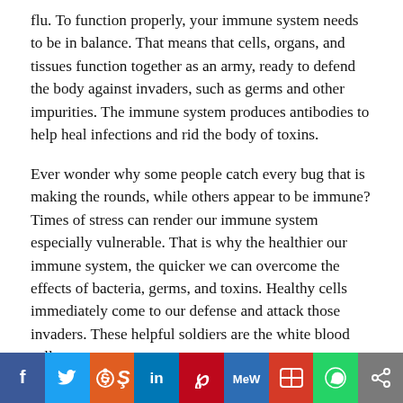flu. To function properly, your immune system needs to be in balance. That means that cells, organs, and tissues function together as an army, ready to defend the body against invaders, such as germs and other impurities. The immune system produces antibodies to help heal infections and rid the body of toxins.
Ever wonder why some people catch every bug that is making the rounds, while others appear to be immune? Times of stress can render our immune system especially vulnerable. That is why the healthier our immune system, the quicker we can overcome the effects of bacteria, germs, and toxins. Healthy cells immediately come to our defense and attack those invaders. These helpful soldiers are the white blood cells.
Yoga is a natural relaxant and stress reliever and an
[Figure (infographic): Social media sharing bar with icons for Facebook, Twitter, Reddit, LinkedIn, Pinterest, MeWe, Mix, WhatsApp, and a share button]